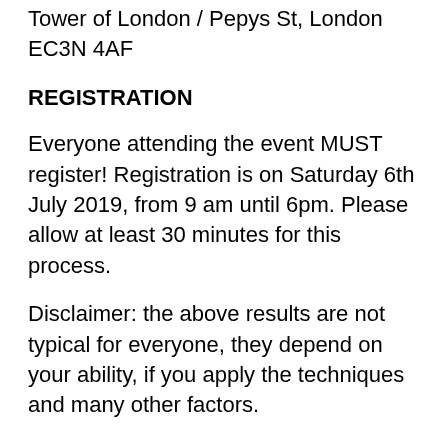Tower of London / Pepys St, London EC3N 4AF
REGISTRATION
Everyone attending the event MUST register! Registration is on Saturday 6th July 2019, from 9 am until 6pm. Please allow at least 30 minutes for this process.
Disclaimer: the above results are not typical for everyone, they depend on your ability, if you apply the techniques and many other factors.